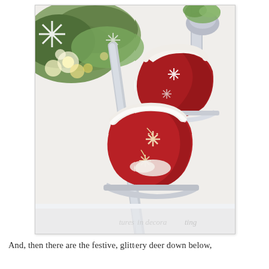[Figure (photo): Decorative red velvet ice skates with white fur trim and snowflake embellishments, hanging from a banister or railing decorated with Christmas greenery, lights, snowflake ornaments, and holiday decor. A watermark reads 'tures in decorating' at the bottom right.]
And, then there are the festive, glittery deer down below,